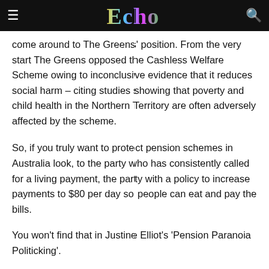Echo
come around to The Greens' position. From the very start The Greens opposed the Cashless Welfare Scheme owing to inconclusive evidence that it reduces social harm – citing studies showing that poverty and child health in the Northern Territory are often adversely affected by the scheme.
So, if you truly want to protect pension schemes in Australia look, to the party who has consistently called for a living payment, the party with a policy to increase payments to $80 per day so people can eat and pay the bills.
You won't find that in Justine Elliot's 'Pension Paranoia Politicking'.
Marion Riordan, Farrants Hill